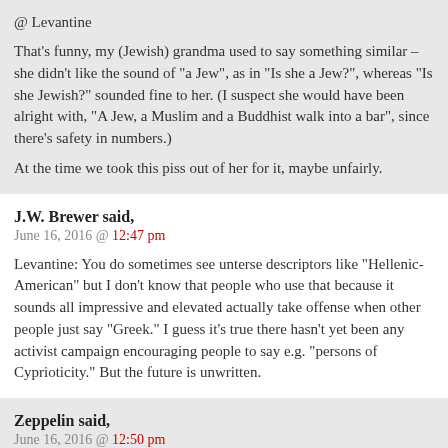@ Levantine
That's funny, my (Jewish) grandma used to say something similar – she didn't like the sound of "a Jew", as in "Is she a Jew?", whereas "Is she Jewish?" sounded fine to her. (I suspect she would have been alright with, "A Jew, a Muslim and a Buddhist walk into a bar", since there's safety in numbers.)
At the time we took this piss out of her for it, maybe unfairly.
J.W. Brewer said,
June 16, 2016 @ 12:47 pm
Levantine: You do sometimes see unterse descriptors like "Hellenic-American" but I don't know that people who use that because it sounds all impressive and elevated actually take offense when other people just say "Greek." I guess it's true there hasn't yet been any activist campaign encouraging people to say e.g. "persons of Cyprioticity." But the future is unwritten.
Zeppelin said,
June 16, 2016 @ 12:50 pm
What Hugh said, basically.